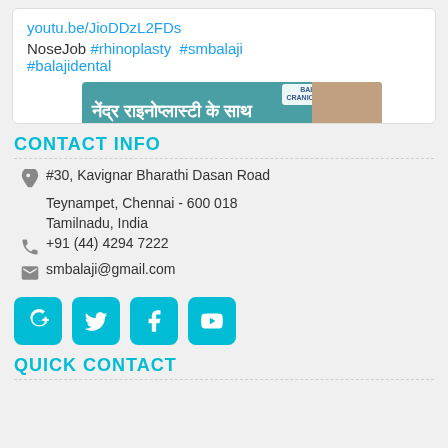[Figure (screenshot): Twitter/social media card showing a YouTube link, hashtags NoseJob #rhinoplasty #smbalaji #balajidental, and a thumbnail image of Balaji Dental & Craniofacial Hospital with Hindi text about rhinoplasty]
CONTACT INFO
#30, Kavignar Bharathi Dasan Road
Teynampet, Chennai - 600 018
Tamilnadu, India
+91 (44) 4294 7222
smbalaji@gmail.com
[Figure (infographic): Social media icons: Google+, Twitter, Facebook, YouTube — all in teal/cyan color]
QUICK CONTACT